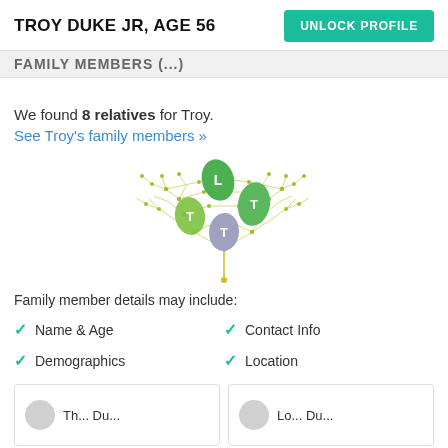TROY DUKE JR, AGE 56 | UNLOCK PROFILE
FAMILY MEMBERS (...)
We found 8 relatives for Troy.
See Troy's family members »
[Figure (illustration): A decorative family tree network diagram with leaf-shaped icons labeled L, T, T, T in green and gray/lavender colors, connected by thin yellow-green lines forming a network/tree structure.]
Family member details may include:
✓ Name & Age
✓ Contact Info
✓ Demographics
✓ Location